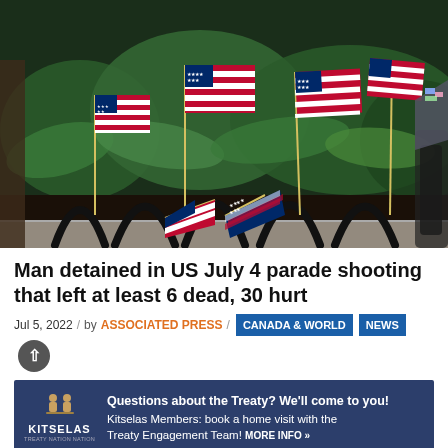[Figure (photo): Multiple small American flags planted in a garden with black metal bike racks, some flags standing upright and two fallen over in the foreground, surrounded by green ferns and plants.]
Man detained in US July 4 parade shooting that left at least 6 dead, 30 hurt
Jul 5, 2022 / by ASSOCIATED PRESS / CANADA & WORLD NEWS
[Figure (infographic): Advertisement banner for Kitselas with logo showing figures and text: Questions about the Treaty? We'll come to you! Kitselas Members: book a home visit with the Treaty Engagement Team! MORE INFO »]